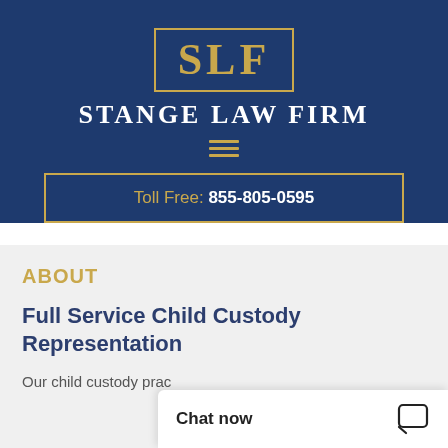[Figure (logo): SLF logo in gold letters on dark navy background with gold border rectangle]
Stange Law Firm
[Figure (other): Hamburger menu icon — three gold horizontal lines]
Toll Free: 855-805-0595
ABOUT
Full Service Child Custody Representation
Our child custody prac
Chat now